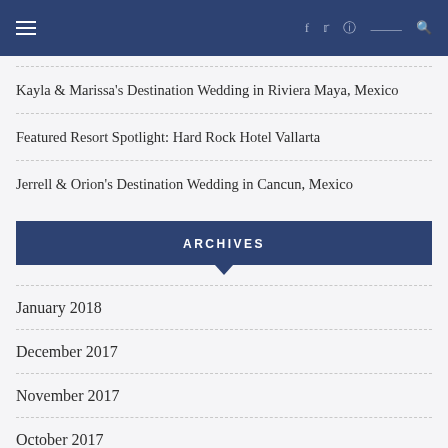≡  f  twitter  instagram  pinterest  search
Kayla & Marissa's Destination Wedding in Riviera Maya, Mexico
Featured Resort Spotlight: Hard Rock Hotel Vallarta
Jerrell & Orion's Destination Wedding in Cancun, Mexico
ARCHIVES
January 2018
December 2017
November 2017
October 2017